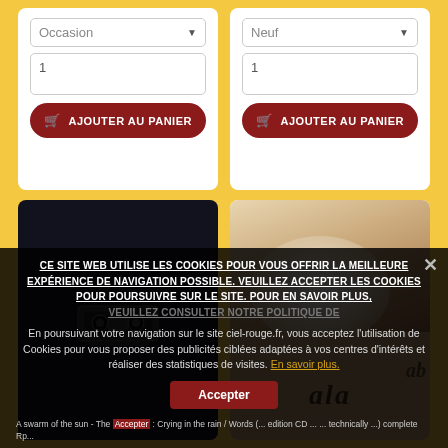[Figure (screenshot): E-commerce product card with 'Occasion' dropdown, quantity field (1), and 'AJOUTER AU PANIER' button on yellow background]
[Figure (screenshot): E-commerce product card with 'Neuf' dropdown, quantity field (1), and 'AJOUTER AU PANIER' button on yellow background]
[Figure (photo): Dark background product image showing a cassette/audio device]
[Figure (photo): Photo showing swans or birds with dark script text overlay]
CE SITE WEB UTILISE LES COOKIES POUR VOUS OFFRIR LA MEILLEURE EXPÉRIENCE DE NAVIGATION POSSIBLE. VEUILLEZ ACCEPTER LES COOKIES POUR POURSUIVRE SUR LE SITE. POUR EN SAVOIR PLUS, VEUILLEZ CONSULTER NOTRE POLITIQUE DE
En poursuivant votre navigation sur le site ciel-rouge.fr, vous acceptez l'utilisation de Cookies pour vous proposer des publicités ciblées adaptées à vos centres d'intérêts et réaliser des statistiques de visites. En savoir plus.
A swarm of the sun - The ... : Crying in the rain / Words (... edition CD ... ... technically ... complete Rp...